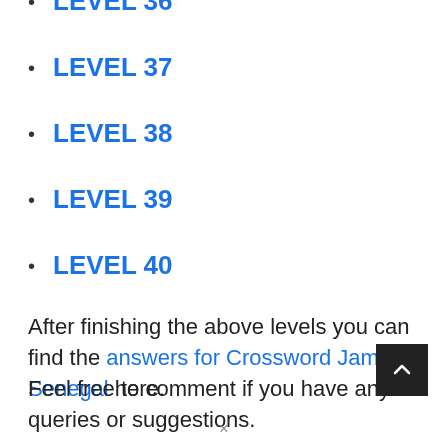LEVEL 36
LEVEL 37
LEVEL 38
LEVEL 39
LEVEL 40
After finishing the above levels you can find the answers for Crossword Jam Senegal here.
Feel free to comment if you have any queries or suggestions.